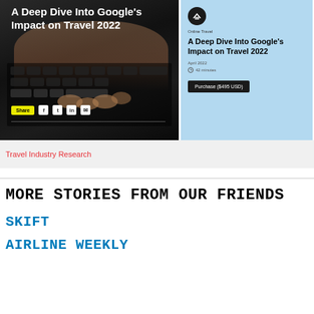[Figure (screenshot): Banner image with dark background showing hands on keyboard, with white bold text reading 'A Deep Dive Into Google's Impact on Travel 2022', a yellow Share button, and social media icons]
[Figure (screenshot): Light blue card on right side with circle icon, category 'Online Travel', title 'A Deep Dive Into Google's Impact on Travel 2022', date 'April 2022', time '42 minutes', and black 'Purchase ($495 USD)' button]
Travel Industry Research
MORE STORIES FROM OUR FRIENDS
SKIFT
AIRLINE WEEKLY